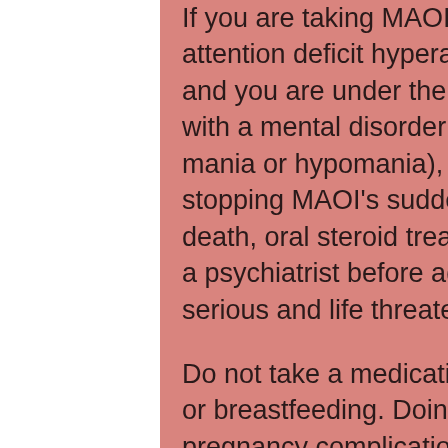If you are taking MAOIs (such as Ritalin and others for attention deficit hyperactivity disorder or manic depression) and you are under the influence or have been diagnosed with a mental disorder such as schizophrenia (such as mania or hypomania), it is extremely important to know that stopping MAOI's suddenly can cause severe harm and even death, oral steroid treatment for eczema. Always check with a psychiatrist before administering MAOIs. This is a very serious and life threatening situation, best steroid for libido.
Do not take a medication suddenly when you are pregnant or breastfeeding. Doing so can result in a life threatening pregnancy complications.
Never take a psychoactive medication if you are pregnant, oral steroids for eczema. If you decide to give birth prematurely, you will